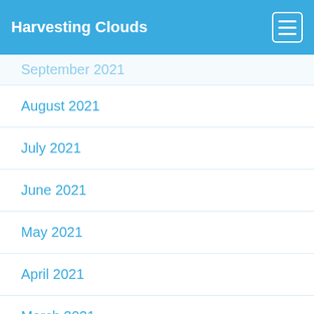Harvesting Clouds
September 2021
August 2021
July 2021
June 2021
May 2021
April 2021
March 2021
February 2021
January 2021
December 2020